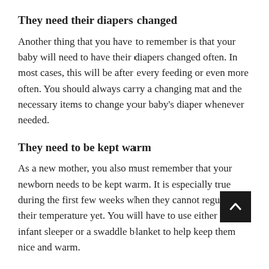They need their diapers changed
Another thing that you have to remember is that your baby will need to have their diapers changed often. In most cases, this will be after every feeding or even more often. You should always carry a changing mat and the necessary items to change your baby's diaper whenever needed.
They need to be kept warm
As a new mother, you also must remember that your newborn needs to be kept warm. It is especially true during the first few weeks when they cannot regulate their temperature yet. You will have to use either an infant sleeper or a swaddle blanket to help keep them nice and warm.
These are just some things that every new mother should know about newborn care. Take time to learn more and seek professional advice when needed to provide your baby